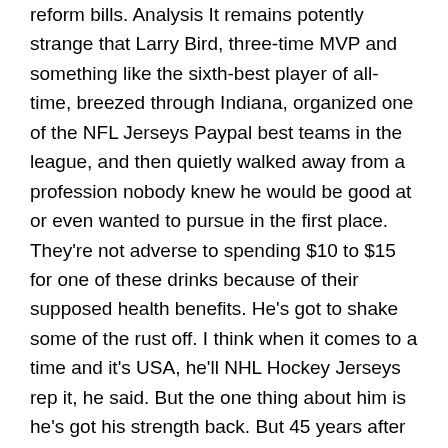reform bills. Analysis It remains potently strange that Larry Bird, three-time MVP and something like the sixth-best player of all-time, breezed through Indiana, organized one of the NFL Jerseys Paypal best teams in the league, and then quietly walked away from a profession nobody knew he would be good at or even wanted to pursue in the first place. They're not adverse to spending $10 to $15 for one of these drinks because of their supposed health benefits. He's got to shake some of the rust off. I think when it comes to a time and it's USA, he'll NHL Hockey Jerseys rep it, he said. But the one thing about him is he's got his strength back. But 45 years after it showed the 1974 Pony concept coupe, it uses the Frankfurt auto show to unveil the 45 concept that pays homage to the Pony while signaling future design. 27 – Kemba Walker scored 13 points Friday on 5-of-15 shooting as the Boston Celtics defeated the Cleveland Cavaliers 129. Analysis It remains potently strange that Larry Bird, three-time MVP and something like the Gheen NBA